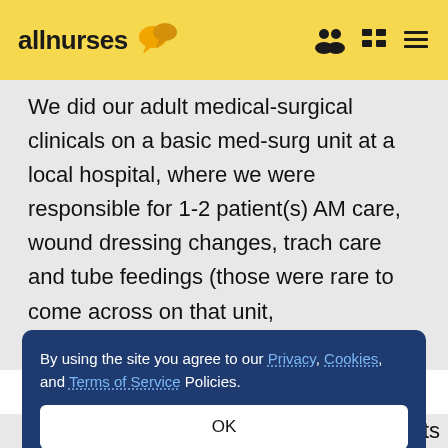allnurses
We did our adult medical-surgical clinicals on a basic med-surg unit at a local hospital, where we were responsible for 1-2 patient(s) AM care, wound dressing changes, trach care and tube feedings (those were rare to come across on that unit, unfortunately), vitals, head-to-toe assessment, oral/g-
By using the site you agree to our Privacy, Cookies, and Terms of Service Policies.
OK
varied from 18 to 100. Most of the patients I